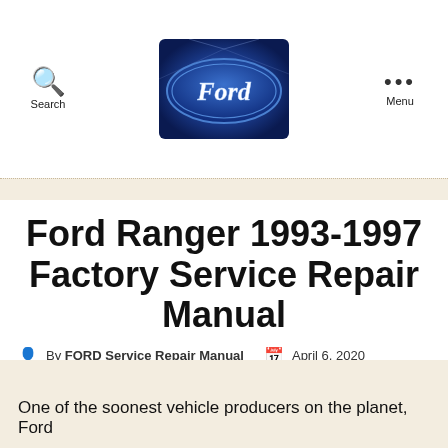Search | Ford Logo | Menu
[Figure (logo): Ford oval blue logo with stylized Ford script on dark blue/purple background with light rays]
Ford Ranger 1993-1997 Factory Service Repair Manual
By FORD Service Repair Manual   April 6, 2020
One of the soonest vehicle producers on the planet, Ford